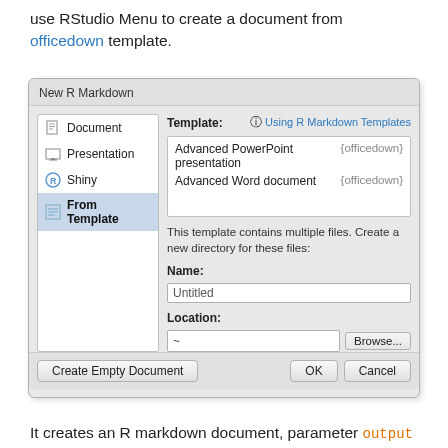use RStudio Menu to create a document from officedown template.
[Figure (screenshot): RStudio 'New R Markdown' dialog box showing From Template selected in the left panel, with Advanced PowerPoint presentation and Advanced Word document listed as officedown templates in the right panel. Below the template list are Name (Untitled) and Location fields with a Browse button. Footer has Create Empty Document, OK, and Cancel buttons.]
It creates an R markdown document, parameter output